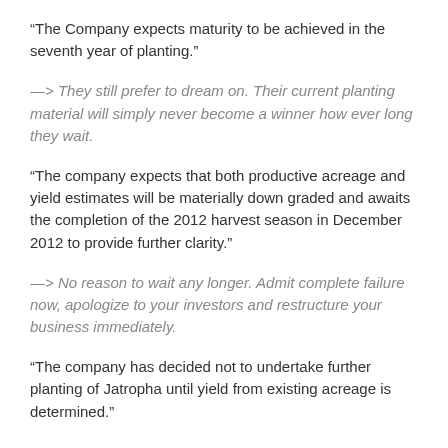“The Company expects maturity to be achieved in the seventh year of planting.”
—> They still prefer to dream on. Their current planting material will simply never become a winner how ever long they wait.
“The company expects that both productive acreage and yield estimates will be materially down graded and awaits the completion of the 2012 harvest season in December 2012 to provide further clarity.”
—> No reason to wait any longer. Admit complete failure now, apologize to your investors and restructure your business immediately.
“The company has decided not to undertake further planting of Jatropha until yield from existing acreage is determined.”